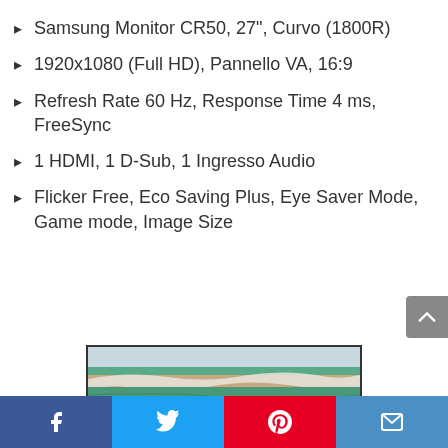Samsung Monitor CR50, 27", Curvo (1800R)
1920x1080 (Full HD), Pannello VA, 16:9
Refresh Rate 60 Hz, Response Time 4 ms, FreeSync
1 HDMI, 1 D-Sub, 1 Ingresso Audio
Flicker Free, Eco Saving Plus, Eye Saver Mode, Game mode, Image Size
[Figure (photo): Samsung curved monitor displaying a coastal aerial image of waves and beach]
[Figure (infographic): Social media sharing bar with Facebook, Twitter, Pinterest, and email buttons]